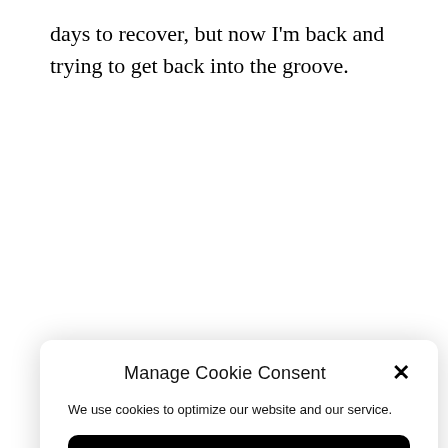days to recover, but now I'm back and trying to get back into the groove.
[Figure (screenshot): Cookie consent modal dialog with title 'Manage Cookie Consent', a close (×) button, body text 'We use cookies to optimize our website and our service.', and a black 'Accept' button with rounded corners.]
[Figure (screenshot): Scroll-to-top button (gray rounded square with upward arrow) in bottom-left corner, and a dark mode toggle switch (light/moon icon) in bottom-right corner.]